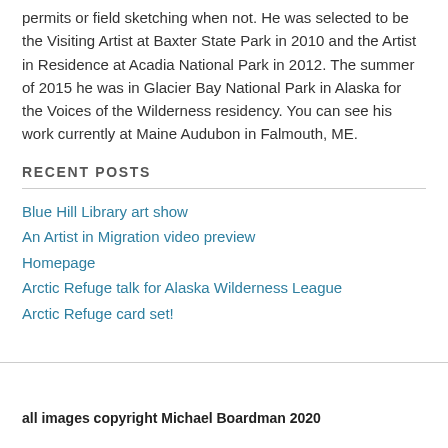permits or field sketching when not. He was selected to be the Visiting Artist at Baxter State Park in 2010 and the Artist in Residence at Acadia National Park in 2012. The summer of 2015 he was in Glacier Bay National Park in Alaska for the Voices of the Wilderness residency. You can see his work currently at Maine Audubon in Falmouth, ME.
RECENT POSTS
Blue Hill Library art show
An Artist in Migration video preview
Homepage
Arctic Refuge talk for Alaska Wilderness League
Arctic Refuge card set!
all images copyright Michael Boardman 2020